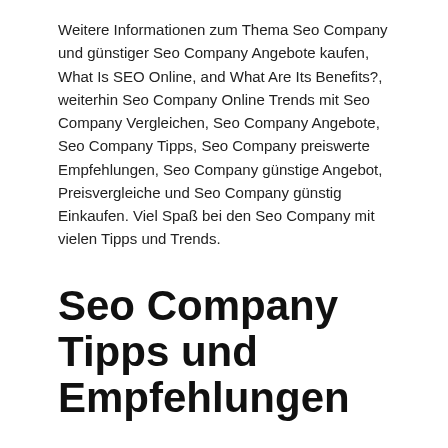Weitere Informationen zum Thema Seo Company und günstiger Seo Company Angebote kaufen, What Is SEO Online, and What Are Its Benefits?, weiterhin Seo Company Online Trends mit Seo Company Vergleichen, Seo Company Angebote, Seo Company Tipps, Seo Company preiswerte Empfehlungen, Seo Company günstige Angebot, Preisvergleiche und Seo Company günstig Einkaufen. Viel Spaß bei den Seo Company mit vielen Tipps und Trends.
Seo Company Tipps und Empfehlungen
Weitere Informationen über Seo Company, Empfhelungen und Angebote: Internet Marketing Internet Marketing Advantages Internet Marketing Artikeln Internet Marketing Company